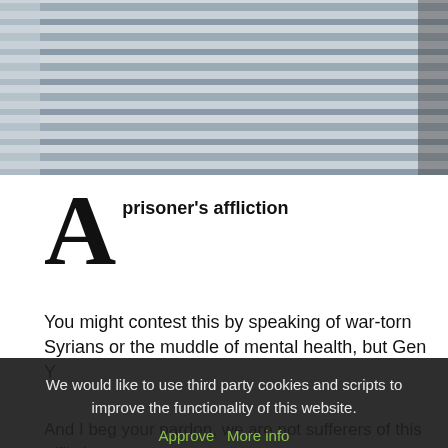[Figure (photo): Back of person's head wearing a striped grey and black sweater, seated in front of a screen]
A prisoner's affliction
You might contest this by speaking of war-torn Syrians or the muddle of mental health, but Gen Y
We would like to use third party cookies and scripts to improve the functionality of this website. Approve  More info
And I beg your pardon, we are not sufferers of this affliction...